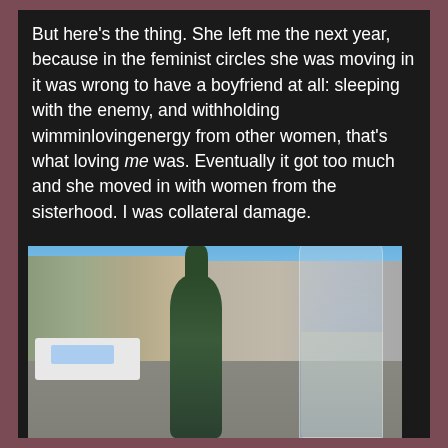But here's the thing. She left me the next year, because in the feminist circles she was moving in it was wrong to have a boyfriend at all: sleeping with the enemy, and withholding wimminlovingenergy from other women, that's what loving me was. Eventually it got too much and she moved in with women from the sisterhood. I was collateral damage.

It was not the happiest time of my life.
[Figure (photo): A photo of a champagne bottle and champagne glass in the foreground, with a European city square and buildings visible in the background under a blue sky. A white van is parked on the left side of the square.]